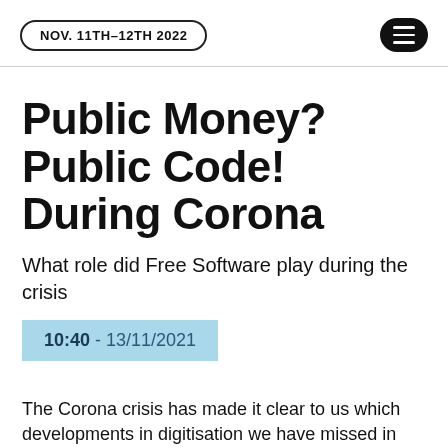NOV. 11TH–12TH 2022
Public Money? Public Code! During Corona
What role did Free Software play during the crisis
10:40 - 13/11/2021
The Corona crisis has made it clear to us which developments in digitisation we have missed in recent years. Administrations, but also many